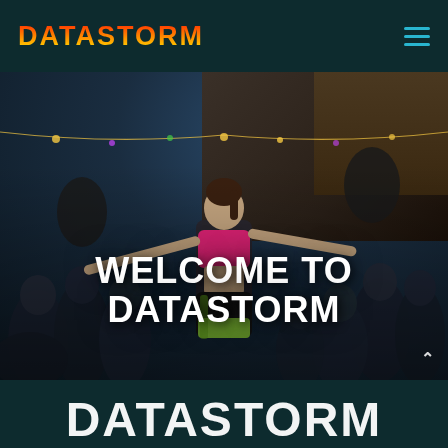DATASTORM
[Figure (photo): Outdoor night party scene with a performer wearing a pink crop top, yellow-green shorts, holding dark feathered props with arms outstretched, surrounded by crowd of cheering onlookers. String lights visible in background.]
WELCOME TO DATASTORM
[Figure (logo): Partial decorative DATASTORM logo text in stylized font at bottom of page, white on dark teal background]